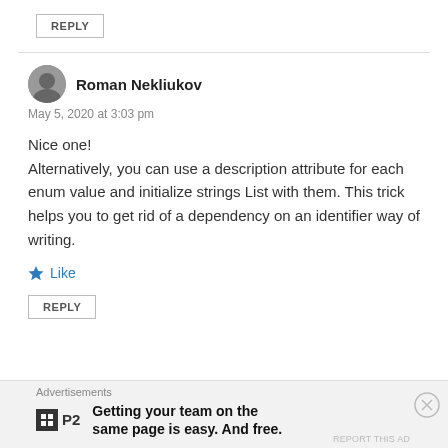REPLY
Roman Nekliukov
May 5, 2020 at 3:03 pm
Nice one!
Alternatively, you can use a description attribute for each enum value and initialize strings List with them. This trick helps you to get rid of a dependency on an identifier way of writing.
Like
REPLY
Advertisements
Getting your team on the same page is easy. And free.